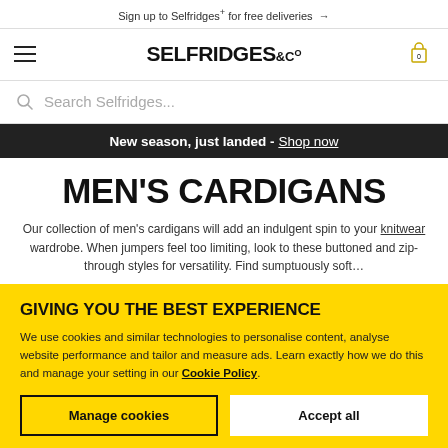Sign up to Selfridges+ for free deliveries →
[Figure (screenshot): Selfridges & Co navigation bar with hamburger menu, logo, and cart icon]
Search Selfridges...
New season, just landed - Shop now
MEN'S CARDIGANS
Our collection of men's cardigans will add an indulgent spin to your knitwear wardrobe. When jumpers feel too limiting, look to these buttoned and zip-through styles for versatility. Find sumptuously soft...
GIVING YOU THE BEST EXPERIENCE
We use cookies and similar technologies to personalise content, analyse website performance and tailor and measure ads. Learn exactly how we do this and manage your setting in our Cookie Policy.
Manage cookies
Accept all